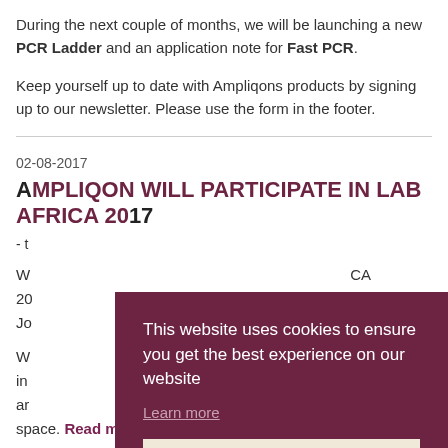During the next couple of months, we will be launching a new PCR Ladder and an application note for Fast PCR.
Keep yourself up to date with Ampliqons products by signing up to our newsletter. Please use the form in the footer.
02-08-2017
AMPLIQON WILL PARTICIPATE IN LAB AFRICA 2017
- t
W... CA 20... Jo...
W... icon in... from ar... n space. Read more.
This website uses cookies to ensure you get the best experience on our website
Learn more
ok